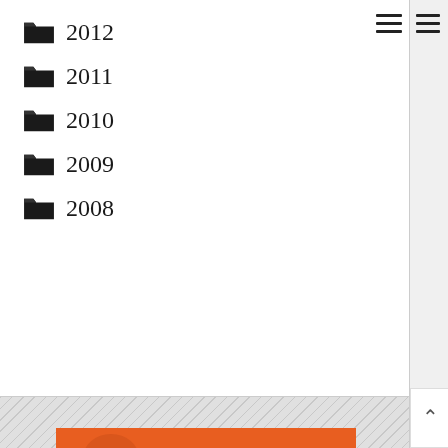📁 2012
📁 2011
📁 2010
📁 2009
📁 2008
[Figure (illustration): Book cover: orange background with brain illustrations, text reads 'AN AUTHENTIC HUMAN'S GUIDE TO FINDING MEANINGFUL' in yellow and white bold stylized font]